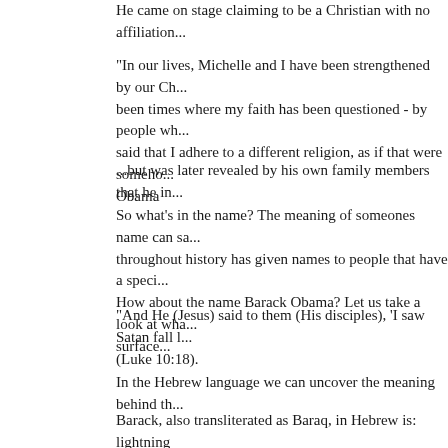He came on stage claiming to be a Christian with no affiliation...
"In our lives, Michelle and I have been strengthened by our Ch... been times where my faith has been questioned - by people wh... said that I adhere to a different religion, as if that were someho... Obama
...but was later revealed by his own family members that he in...
So what's in the name? The meaning of someones name can sa... throughout history has given names to people that have a speci... How about the name Barack Obama? Let us take a look at wha... surface...
"And He (Jesus) said to them (His disciples), 'I saw Satan fall l... (Luke 10:18).
In the Hebrew language we can uncover the meaning behind th...
Barack, also transliterated as Baraq, in Hebrew is: lightning
baraq – Biblical definition:
From Strongs H1299; lightning; by analogy a gleam; concretel... glitter (-ing, sword), lightning. (Strongs Hebrew word H1300 l...